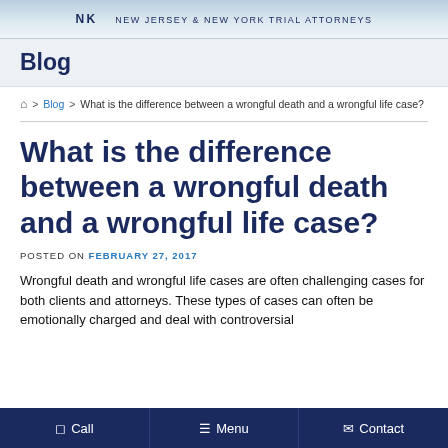NK NEW JERSEY & NEW YORK TRIAL ATTORNEYS
Blog
Home > Blog > What is the difference between a wrongful death and a wrongful life case?
What is the difference between a wrongful death and a wrongful life case?
POSTED ON FEBRUARY 27, 2017
Wrongful death and wrongful life cases are often challenging cases for both clients and attorneys. These types of cases can often be emotionally charged and deal with controversial
Call   Menu   Contact